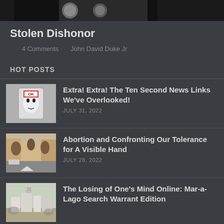[Figure (photo): Partial top image strip showing what appears to be medal/coin imagery on a dark background]
Stolen Dishonor
4 Comments · John David Duke Jr
HOT POSTS
[Figure (photo): A soda/beer can with a stylized face graphic and 'OK' text on it, placed outdoors]
Extra! Extra! The Ten Second News Links We've Overlooked!
JULY 31, 2022
[Figure (photo): Street scene with trees and parked cars, a road marking visible]
Abortion and Confronting Our Tolerance for A Visible Hand
JULY 28, 2022
[Figure (photo): Building/architecture scene, partially visible]
The Losing of One's Mind Online: Mar-a-Lago Search Warrant Edition